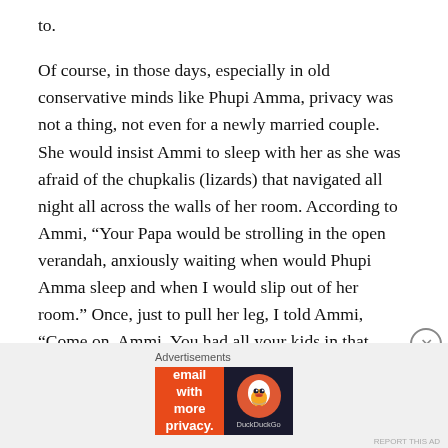to.
Of course, in those days, especially in old conservative minds like Phupi Amma, privacy was not a thing, not even for a newly married couple. She would insist Ammi to sleep with her as she was afraid of the chupkalis (lizards) that navigated all night all across the walls of her room. According to Ammi, “Your Papa would be strolling in the open verandah, anxiously waiting when would Phupi Amma sleep and when I would slip out of her room.” Once, just to pull her leg, I told Ammi, “Come on, Ammi. You had all your kids in that house. Don’t blame Phupi Amma for not letting you be with Papa.” She didn’t find it funny. 😐
[Figure (other): DuckDuckGo advertisement banner: orange left panel reading 'Search, browse, and email with more privacy. All in One Free App', dark right panel with DuckDuckGo duck logo and brand name.]